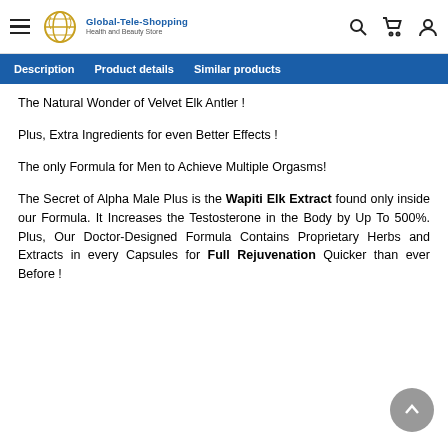Global-Tele-Shopping Health and Beauty Store
Description   Product details   Similar products
The Natural Wonder of Velvet Elk Antler !
Plus, Extra Ingredients for even Better Effects !
The only Formula for Men to Achieve Multiple Orgasms!
The Secret of Alpha Male Plus is the Wapiti Elk Extract found only inside our Formula. It Increases the Testosterone in the Body by Up To 500%. Plus, Our Doctor-Designed Formula Contains Proprietary Herbs and Extracts in every Capsules for Full Rejuvenation Quicker than ever Before !